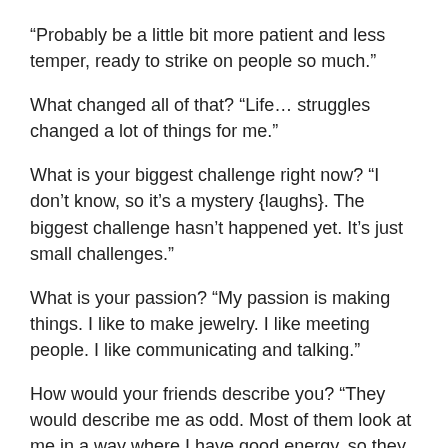“Probably be a little bit more patient and less temper, ready to strike on people so much.”
What changed all of that? “Life… struggles changed a lot of things for me.”
What is your biggest challenge right now? “I don’t know, so it’s a mystery {laughs}. The biggest challenge hasn’t happened yet. It’s just small challenges.”
What is your passion? “My passion is making things. I like to make jewelry. I like meeting people. I like communicating and talking.”
How would your friends describe you? “They would describe me as odd. Most of them look at me in a way where I have good energy, so they like to be around me, but they also see that I’m a little bit crazy too. So they just